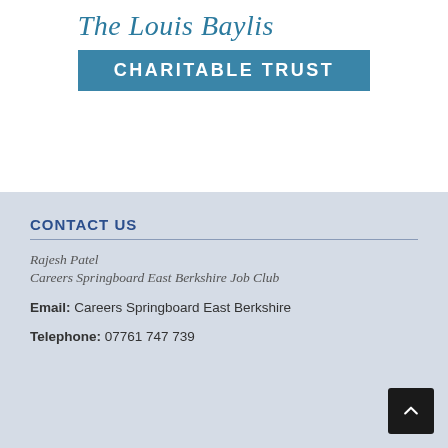The Louis Baylis
CHARITABLE TRUST
CONTACT US
Rajesh Patel
Careers Springboard East Berkshire Job Club
Email: Careers Springboard East Berkshire
Telephone: 07761 747 739